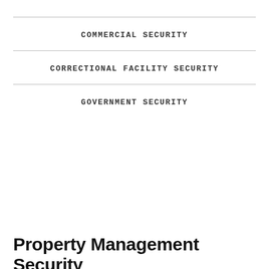COMMERCIAL SECURITY
CORRECTIONAL FACILITY SECURITY
GOVERNMENT SECURITY
Property Management Security